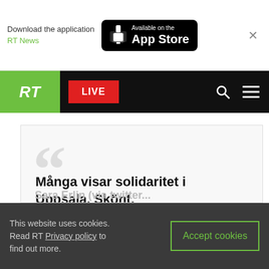Download the application RT News — Available on the App Store
[Figure (screenshot): RT news website navigation bar with green RT logo, red LIVE button, search icon, and menu icon on black background]
Många visar solidaritet i Uppsala. Skönt. #bränninteupp2015pic.twitter.com/viA...
This website uses cookies. Read RT Privacy policy to find out more. Accept cookies